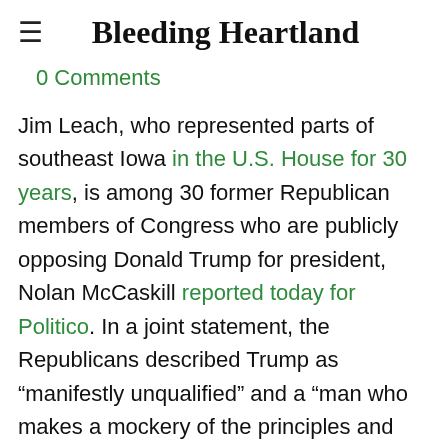Bleeding Heartland
0 Comments
Jim Leach, who represented parts of southeast Iowa in the U.S. House for 30 years, is among 30 former Republican members of Congress who are publicly opposing Donald Trump for president, Nolan McCaskill reported today for Politico. In a joint statement, the Republicans described Trump as “manifestly unqualified” and a “man who makes a mockery of the principles and values we...